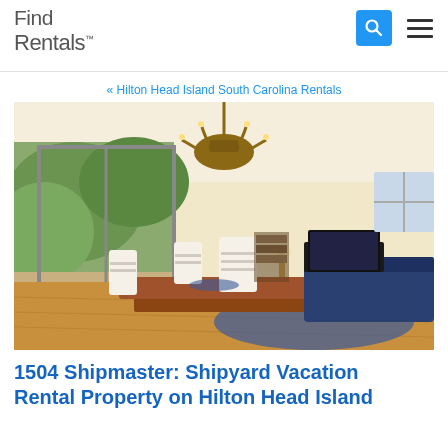Find Rentals
« Hilton Head Island South Carolina Rentals
[Figure (photo): Interior photo of vacation rental showing open-plan dining room and living room with white chairs, wooden dining table, blue sofa, chandelier, sliding glass doors to outdoor patio, and hardwood floors]
1504 Shipmaster: Shipyard Vacation Rental Property on Hilton Head Island